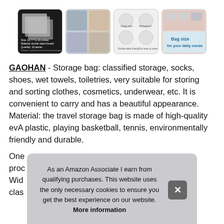[Figure (photo): Four product thumbnail images of storage bags showing: frosted zip bags with size info, lifestyle photos of bag usage, feature icons for bag uses, and size comparison graphic]
GAOHAN - Storage bag: classified storage, socks, shoes, wet towels, toiletries, very suitable for storing and sorting clothes, cosmetics, underwear, etc. It is convenient to carry and has a beautiful appearance. Material: the travel storage bag is made of high-quality evA plastic, playing basketball, tennis, environmentally friendly and durable.
One...prod...Wid...clas...
As an Amazon Associate I earn from qualifying purchases. This website uses the only necessary cookies to ensure you get the best experience on our website. More information